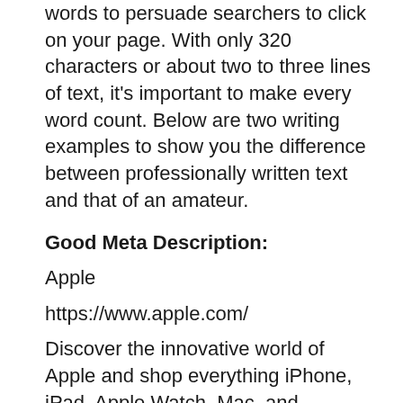words to persuade searchers to click on your page. With only 320 characters or about two to three lines of text, it's important to make every word count. Below are two writing examples to show you the difference between professionally written text and that of an amateur.
Good Meta Description:
Apple
https://www.apple.com/
Discover the innovative world of Apple and shop everything iPhone, iPad, Apple Watch, Mac, and AppleTV, plus explore accessories, entertainment, and expert device support.